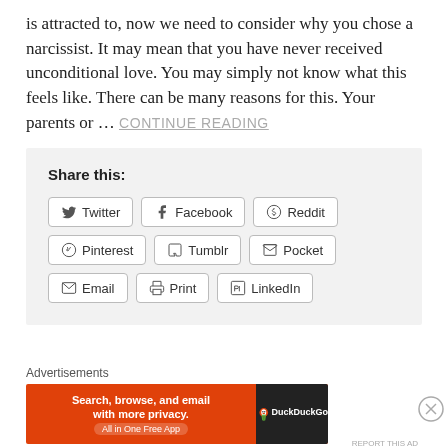is attracted to, now we need to consider why you chose a narcissist. It may mean that you have never received unconditional love. You may simply not know what this feels like. There can be many reasons for this. Your parents or ... CONTINUE READING
Share this:
Twitter Facebook Reddit Pinterest Tumblr Pocket Email Print LinkedIn
Advertisements
[Figure (screenshot): DuckDuckGo advertisement banner: orange background with text 'Search, browse, and email with more privacy. All in One Free App' and DuckDuckGo logo on dark right panel]